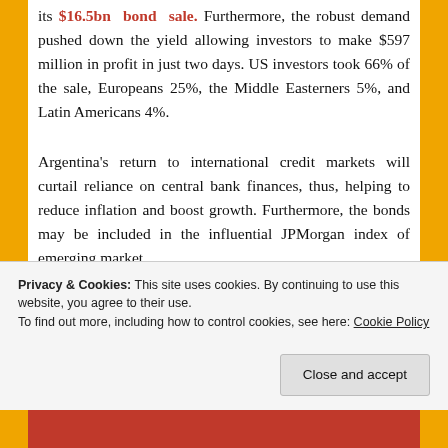its $16.5bn bond sale. Furthermore, the robust demand pushed down the yield allowing investors to make $597 million in profit in just two days. US investors took 66% of the sale, Europeans 25%, the Middle Easterners 5%, and Latin Americans 4%.
Argentina's return to international credit markets will curtail reliance on central bank finances, thus, helping to reduce inflation and boost growth. Furthermore, the bonds may be included in the influential JPMorgan index of emerging market
Privacy & Cookies: This site uses cookies. By continuing to use this website, you agree to their use.
To find out more, including how to control cookies, see here: Cookie Policy